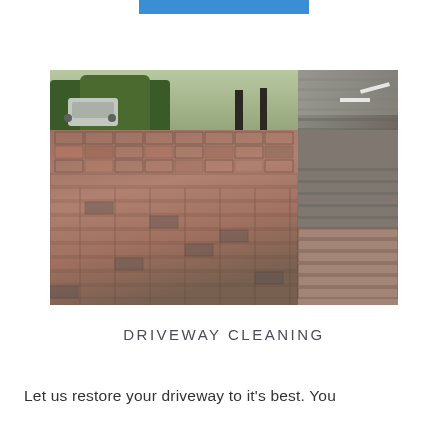[Figure (photo): A cleaned brick paver driveway with reddish-brown and grey herringbone pattern bricks. Trees and a stone wall visible in the background, with a road to the right.]
DRIVEWAY CLEANING
Let us restore your driveway to it's best.  You